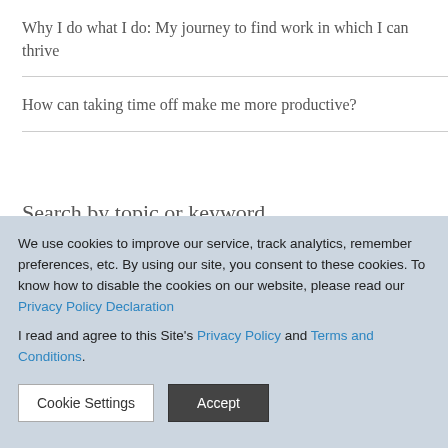Why I do what I do: My journey to find work in which I can thrive
How can taking time off make me more productive?
Search by topic or keyword
We use cookies to improve our service, track analytics, remember preferences, etc. By using our site, you consent to these cookies. To know how to disable the cookies on our website, please read our Privacy Policy Declaration
I read and agree to this Site's Privacy Policy and Terms and Conditions.